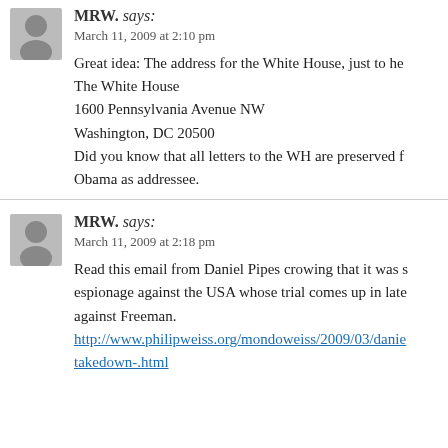MRW. says:
March 11, 2009 at 2:10 pm

Great idea: The address for the White House, just to he
The White House
1600 Pennsylvania Avenue NW
Washington, DC 20500
Did you know that all letters to the WH are preserved f
Obama as addressee.
MRW. says:
March 11, 2009 at 2:18 pm

Read this email from Daniel Pipes crowing that it was s
espionage against the USA whose trial comes up in late
against Freeman.
http://www.philipweiss.org/mondoweiss/2009/03/danie
takedown-.html